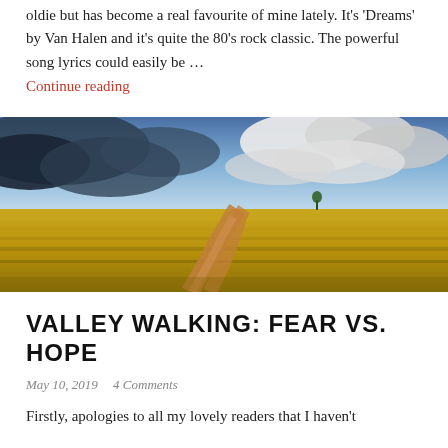oldie but has become a real favourite of mine lately. It's 'Dreams' by Van Halen and it's quite the 80's rock classic. The powerful song lyrics could easily be …
Continue reading
[Figure (photo): Wide landscape photo of a golden grassy plain with a dirt path winding into the distance under a dramatic cloudy sky]
VALLEY WALKING: FEAR VS. HOPE
May 10, 2019   4 Comments
Firstly, apologies to all my lovely readers that I haven't